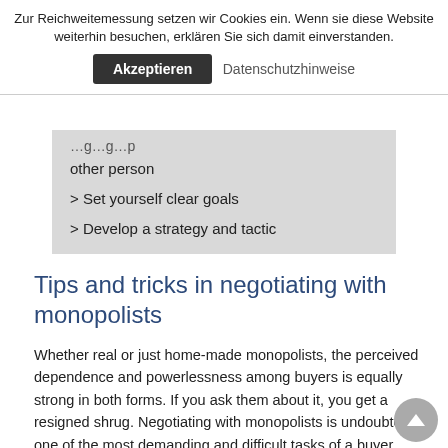Zur Reichweitemessung setzen wir Cookies ein. Wenn sie diese Website weiterhin besuchen, erklären Sie sich damit einverstanden.
Akzeptieren   Datenschutzhinweise
> [partly cut off] other person
> Set yourself clear goals
> Develop a strategy and tactic
Tips and tricks in negotiating with monopolists
Whether real or just home-made monopolists, the perceived dependence and powerlessness among buyers is equally strong in both forms. If you ask them about it, you get a resigned shrug. Negotiating with monopolists is undoubtedly one of the most demanding and difficult tasks of a buyer.
Monopolists have a prominent position within their own supplier base. They do not just happen, but are often home-made. Monopolies arise because companies are too one-